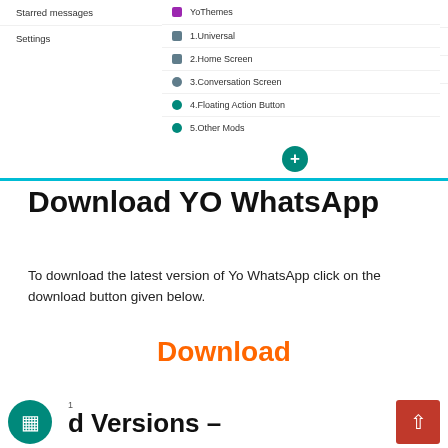[Figure (screenshot): Screenshot of YO WhatsApp app interface showing a menu with Starred messages and Settings on the left panel, a middle panel listing YoThemes, 1.Universal, 2.Home Screen, 3.Conversation Screen, 4.Floating Action Button, 5.Other Mods, and a right panel showing Google+, Twitter, Telegram social links and Credits section. A teal FAB button with + sign is at the bottom.]
Download YO WhatsApp
To download the latest version of Yo WhatsApp click on the download button given below.
Download
d Versions –